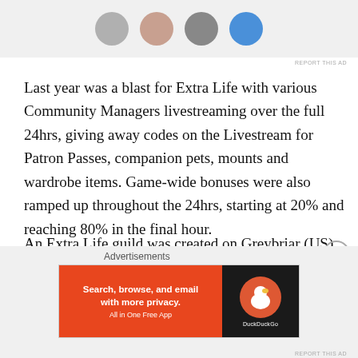[Figure (photo): Row of user avatar profile pictures — gray, peach/brown, dark gray, and blue circular avatars partially visible at top of page]
Last year was a blast for Extra Life with various Community Managers livestreaming over the full 24hrs, giving away codes on the Livestream for Patron Passes, companion pets, mounts and wardrobe items. Game-wide bonuses were also ramped up throughout the 24hrs, starting at 20% and reaching 80% in the final hour.
An Extra Life guild was created on Greybriar (US) with over 100 players online at once running amok through RIFT. The folks over at Defiance also participated and fundraising/donation milestone rewards included both
Advertisements
[Figure (screenshot): DuckDuckGo advertisement banner: orange left panel reading 'Search, browse, and email with more privacy. All in One Free App', black right panel with DuckDuckGo logo duck in orange circle]